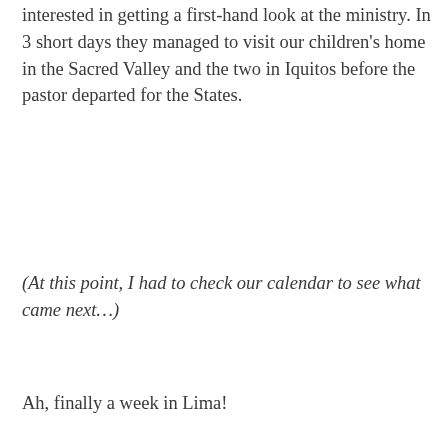interested in getting a first-hand look at the ministry. In 3 short days they managed to visit our children's home in the Sacred Valley and the two in Iquitos before the pastor departed for the States.
(At this point, I had to check our calendar to see what came next…)
Ah, finally a week in Lima!
One of the boys from the Kusi home came to Lima for a couple of days to have some intense dental work done on his teeth. He was born with a disorder where his teeth don't produce enamel and are basically rotting away at 12 years old. He was deathly terrified of the dentist and didn't appreciate having to spend a few days at a great dentist here in Lima (which coincidentally was the same place Billy had his